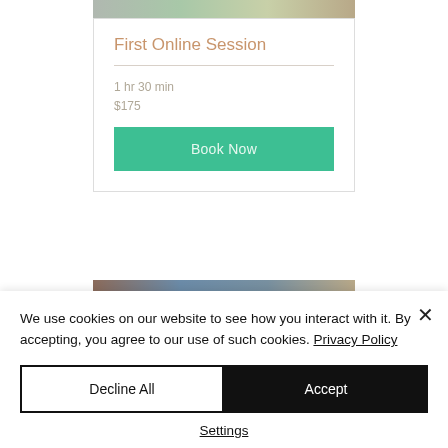[Figure (photo): Top decorative image strip showing glittery/sparkly items]
First Online Session
1 hr 30 min
$175
Book Now
[Figure (photo): Bottom decorative image strip showing colored items]
We use cookies on our website to see how you interact with it. By accepting, you agree to our use of such cookies. Privacy Policy
Decline All
Accept
Settings